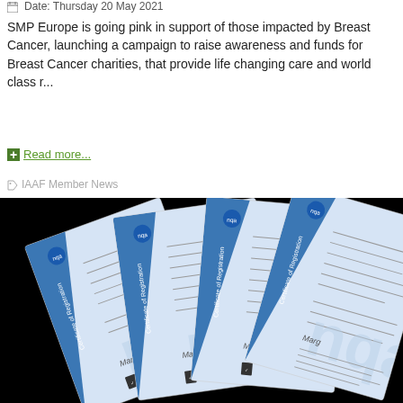Date: Thursday 20 May 2021
SMP Europe is going pink in support of those impacted by Breast Cancer, launching a campaign to raise awareness and funds for Breast Cancer charities, that provide life changing care and world class r...
Read more...
IAAF Member News
[Figure (photo): Four NQA Certificates of Registration fanned out against a black background. Each certificate is light blue with a dark blue diagonal stripe on the left side reading 'Certificate of Registration' and the NQA logo at top left.]